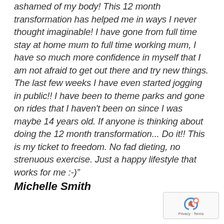ashamed of my body! This 12 month transformation has helped me in ways I never thought imaginable! I have gone from full time stay at home mum to full time working mum, I have so much more confidence in myself that I am not afraid to get out there and try new things. The last few weeks I have even started jogging in public!! I have been to theme parks and gone on rides that I haven't been on since I was maybe 14 years old. If anyone is thinking about doing the 12 month transformation... Do it!! This is my ticket to freedom. No fad dieting, no strenuous exercise. Just a happy lifestyle that works for me :-)"
Michelle Smith
[Figure (logo): reCAPTCHA badge with Privacy and Terms text]